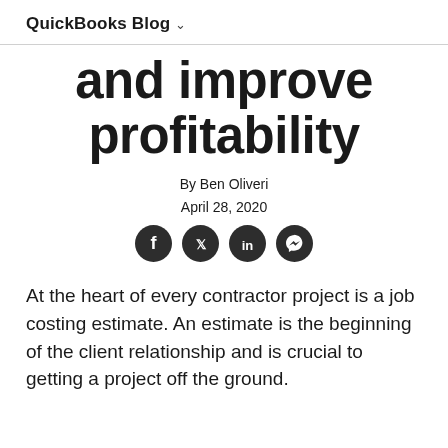QuickBooks Blog ∨
and improve profitability
By Ben Oliveri
April 28, 2020
[Figure (other): Social sharing icons: Facebook, Twitter, LinkedIn, Messenger]
At the heart of every contractor project is a job costing estimate. An estimate is the beginning of the client relationship and is crucial to getting a project off the ground.